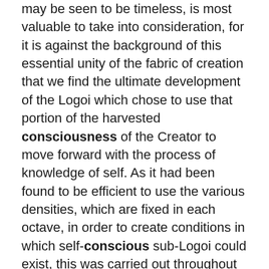may be seen to be timeless, is most valuable to take into consideration, for it is against the background of this essential unity of the fabric of creation that we find the ultimate development of the Logoi which chose to use that portion of the harvested consciousness of the Creator to move forward with the process of knowledge of self. As it had been found to be efficient to use the various densities, which are fixed in each octave, in order to create conditions in which self-conscious sub-Logoi could exist, this was carried out throughout the growing flower-strewn field, as your simile suggests, of the one infinite creation.
The first beings of mind, body, and spirit were not complex. The experience of mind/body/spirits at the beginning of this octave of experience was singular. There was no third-density forgetting. There was no veil. The lessons of third density are predestined by the very nature of the vibratory rates experienced during this particular density